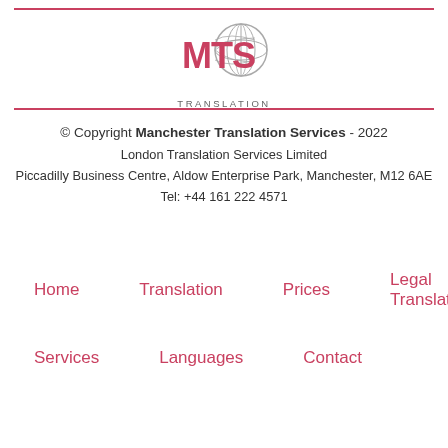[Figure (logo): MTS Translation logo with red MTS text and globe icon, with TRANSLATION text below]
© Copyright Manchester Translation Services - 2022
London Translation Services Limited
Piccadilly Business Centre, Aldow Enterprise Park, Manchester, M12 6AE
Tel: +44 161 222 4571
Home
Translation
Prices
Legal Translation
Services
Languages
Contact